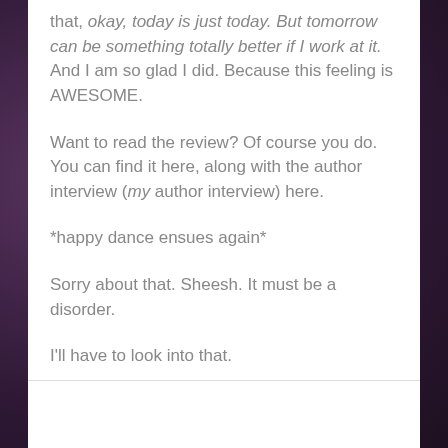that, okay, today is just today. But tomorrow can be something totally better if I work at it. And I am so glad I did. Because this feeling is AWESOME.
Want to read the review? Of course you do. You can find it here, along with the author interview (my author interview) here.
*happy dance ensues again*
Sorry about that. Sheesh. It must be a disorder.
I'll have to look into that.